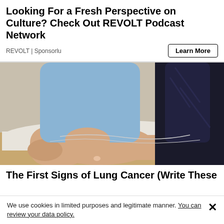Looking For a Fresh Perspective on Culture? Check Out REVOLT Podcast Network
REVOLT | Sponsorlu
Learn More
[Figure (photo): A doctor or medical professional pointing at a patient's ankle/lower leg area, which is resting on a surface. The image is used in the context of a lung cancer symptoms article.]
The First Signs of Lung Cancer (Write These
We use cookies in limited purposes and legitimate manner. You can review your data policy.